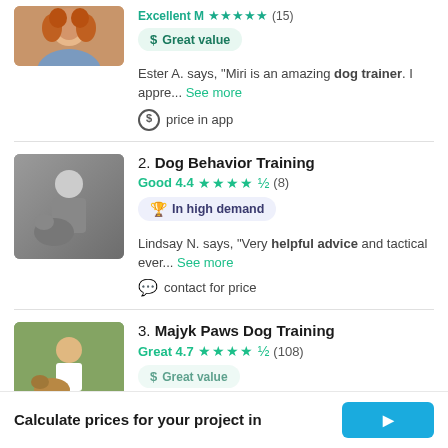[Figure (photo): Profile photo of a woman with curly red hair]
$ Great value
Ester A. says, "Miri is an amazing dog trainer. I appre... See more"
price in app
[Figure (photo): Black and white photo of a dog trainer with a dog]
2. Dog Behavior Training
Good 4.4 ★★★★½ (8)
🏆 In high demand
Lindsay N. says, "Very helpful advice and tactical ever... See more"
contact for price
[Figure (photo): Color photo of a dog trainer with a dog outdoors]
3. Majyk Paws Dog Training
Great 4.7 ★★★★½ (108)
Calculate prices for your project in